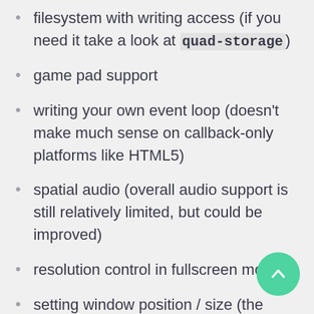filesystem with writing access (if you need it take a look at `quad-storage`)
game pad support
writing your own event loop (doesn't make much sense on callback-only platforms like HTML5)
spatial audio (overall audio support is still relatively limited, but could be improved)
resolution control in fullscreen mode
setting window position / size (the latter is available on Windows, but buggy)
screenshot function
window icon